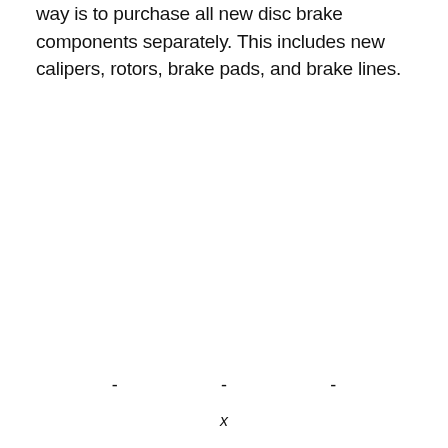way is to purchase all new disc brake components separately. This includes new calipers, rotors, brake pads, and brake lines.
- - -
x